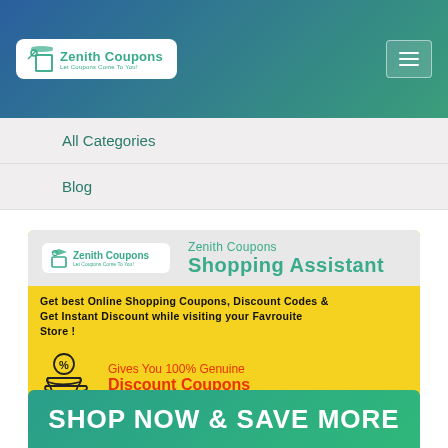[Figure (logo): Zenith Coupons logo with tag icon and hamburger menu, on gradient blue-green header background]
All Categories
Blog
[Figure (infographic): Zenith Coupons Shopping Assistant promotional banner with logo, description text, discount coupon icon, exclusive coupons icon, and arrow graphic on yellow background]
SHOP NOW & SAVE MORE